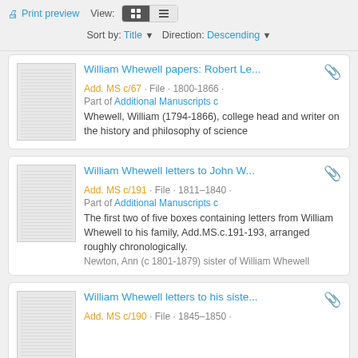Print preview  View:  Sort by: Title ▼  Direction: Descending ▼
William Whewell papers: Robert Le... | Add. MS c/67 · File · 1800-1866 · Part of Additional Manuscripts c | Whewell, William (1794-1866), college head and writer on the history and philosophy of science
William Whewell letters to John W... | Add. MS c/191 · File · 1811–1840 · Part of Additional Manuscripts c | The first two of five boxes containing letters from William Whewell to his family, Add.MS.c.191-193, arranged roughly chronologically. | Newton, Ann (c 1801-1879) sister of William Whewell
William Whewell letters to his siste... | Add. MS c/190 · File · 1845–1850 ·